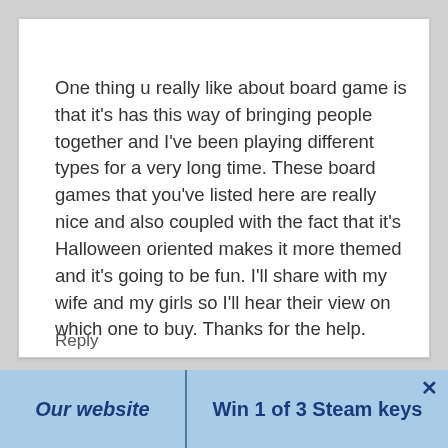One thing u really like about board game is that it's has this way of bringing people together and I've been playing different types for a very long time. These board games that you've listed here are really nice and also coupled with the fact that it's Halloween oriented makes it more themed and it's going to be fun. I'll share with my wife and my girls so I'll hear their view on which one to buy. Thanks for the help.
Reply
Our website   Win 1 of 3 Steam keys